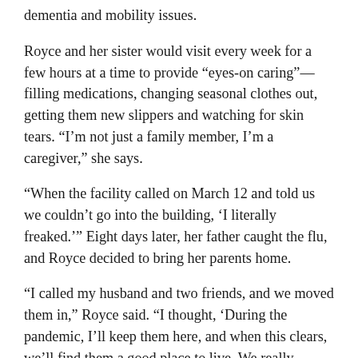dementia and mobility issues.
Royce and her sister would visit every week for a few hours at a time to provide “eyes-on caring”—filling medications, changing seasonal clothes out, getting them new slippers and watching for skin tears. “I’m not just a family member, I’m a caregiver,” she says.
“When the facility called on March 12 and told us we couldn’t go into the building, ‘I literally freaked.’” Eight days later, her father caught the flu, and Royce decided to bring her parents home.
“I called my husband and two friends, and we moved them in,” Royce said. “I thought, ‘During the pandemic, I’ll keep them here, and when this clears, we’ll find them a good place to live. We really wouldn’t have considered bringing them here a solution, but it quickly became the only solution.”